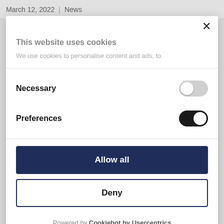March 12, 2022 | News
This website uses cookies
We use cookies to personalise content and ads, to
Necessary
Preferences
Allow all
Deny
Powered by Cookiebot by Usercentrics